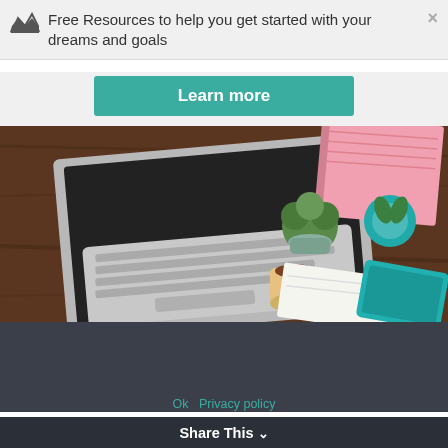Free Resources to help you get started with your dreams and goals
Learn more
[Figure (photo): Overhead view of a desk with an open laptop, pink notebooks, two succulent plants, a coffee cup, notepad, and a teal phone/tablet on a wooden surface.]
Mindset Tricks of Small Business Owners
We use cookies to ensure that we give you the best experience on our website. If you continue to use this site we will assume that you are happy with it.
Ok   Privacy policy
Share This